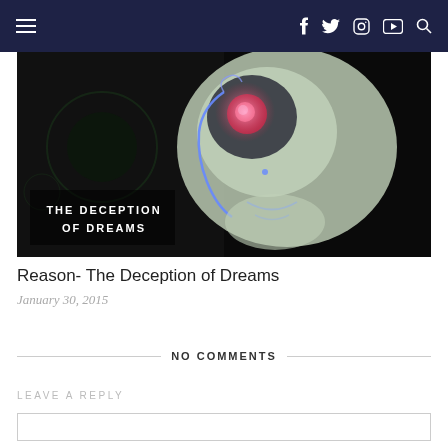Navigation bar with hamburger menu, social icons (f, twitter, instagram, youtube), and search icon
[Figure (illustration): Dark artistic album cover image showing a half-black half-white illuminated face/mask on dark background with text overlay reading 'THE DECEPTION OF DREAMS']
Reason- The Deception of Dreams
January 30, 2015
NO COMMENTS
LEAVE A REPLY